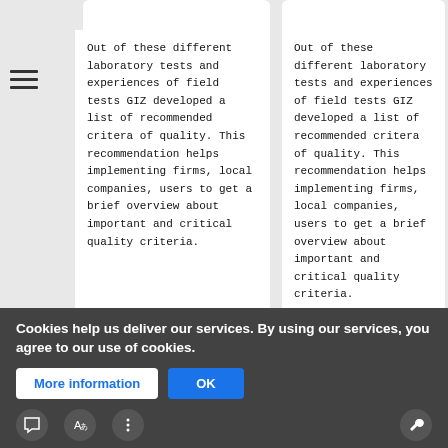Out of these different laboratory tests and experiences of field tests GIZ developed a list of recommended critera of quality. This recommendation helps implementing firms, local companies, users to get a brief overview about important and critical quality criteria.
Out of these different laboratory tests and experiences of field tests GIZ developed a list of recommended critera of quality. This recommendation helps implementing firms, local companies, users to get a brief overview about important and critical quality criteria.
Cookies help us deliver our services. By using our services, you agree to our use of cookies.